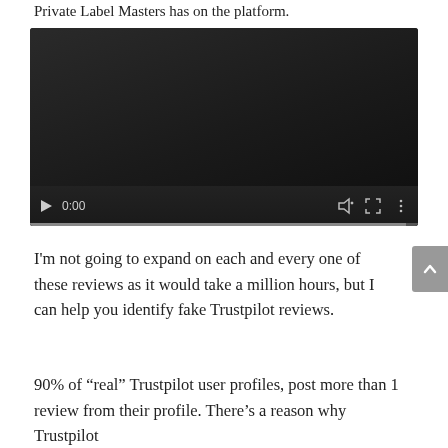Private Label Masters has on the platform.
[Figure (screenshot): Embedded video player with dark background, showing 0:00 timestamp, play button, mute icon, fullscreen icon, and options icon. Progress bar shown at bottom.]
I'm not going to expand on each and every one of these reviews as it would take a million hours, but I can help you identify fake Trustpilot reviews.
90% of “real” Trustpilot user profiles, post more than 1 review from their profile. There’s a reason why Trustpilot